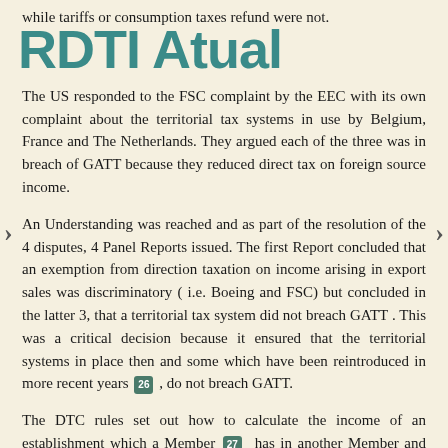while tariffs or consumption taxes refund were not.
The US responded to the FSC complaint by the EEC with its own complaint about the territorial tax systems in use by Belgium, France and The Netherlands. They argued each of the three was in breach of GATT because they reduced direct tax on foreign source income.
An Understanding was reached and as part of the resolution of the 4 disputes, 4 Panel Reports issued. The first Report concluded that an exemption from direction taxation on income arising in export sales was discriminatory ( i.e. Boeing and FSC) but concluded in the latter 3, that a territorial tax system did not breach GATT . This was a critical decision because it ensured that the territorial systems in place then and some which have been reintroduced in more recent years [26] , do not breach GATT.
The DTC rules set out how to calculate the income of an establishment which a Member [27] has in another Member and the importance of the arm's length method cannot be understated. The Panel Reports confirm that for WTO purposes, the arm's length pricing method must be applied when allocating income between the related firms in the different Member states. [28] With both relying on the arm's length method, this confirms the interdependency between the WTO and direct taxation rules